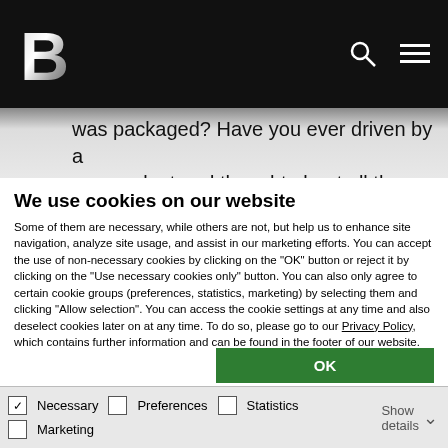B [logo] [search icon] [menu icon]
was packaged? Have you ever driven by a power plant and thought about all the sophisticated machinery built and used to
We use cookies on our website
Some of them are necessary, while others are not, but help us to enhance site navigation, analyze site usage, and assist in our marketing efforts. You can accept the use of non-necessary cookies by clicking on the "OK" button or reject it by clicking on the "Use necessary cookies only" button. You can also only agree to certain cookie groups (preferences, statistics, marketing) by selecting them and clicking “Allow selection”. You can access the cookie settings at any time and also deselect cookies later on at any time. To do so, please go to our Privacy Policy, which contains further information and can be found in the footer of our website. Show Legal.
OK
Allow selection
Use necessary cookies only
Necessary  Preferences  Statistics  Marketing  Show details